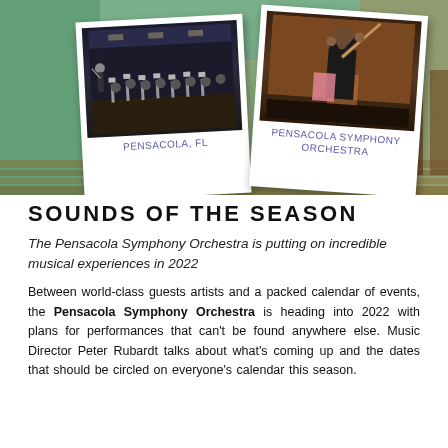[Figure (photo): Two Polaroid-style photos of the Pensacola Symphony Orchestra set against an outdoor background. Left polaroid labeled 'PENSACOLA, FL' shows an orchestra performing on stage. Right polaroid labeled 'PENSACOLA SYMPHONY ORCHESTRA' shows a musician playing a woodwind instrument.]
SOUNDS OF THE SEASON
The Pensacola Symphony Orchestra is putting on incredible musical experiences in 2022
Between world-class guests artists and a packed calendar of events, the Pensacola Symphony Orchestra is heading into 2022 with plans for performances that can't be found anywhere else. Music Director Peter Rubardt talks about what's coming up and the dates that should be circled on everyone's calendar this season.